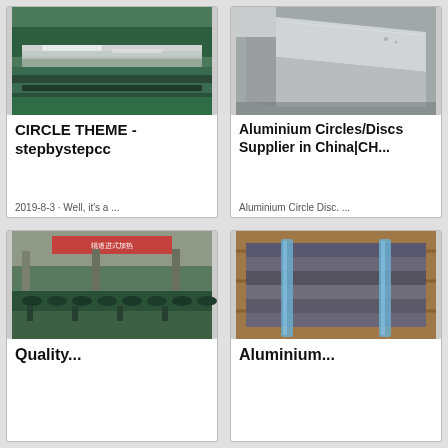[Figure (photo): Industrial metal sheet processing line with shiny aluminum sheets on a green conveyor machine]
CIRCLE THEME - stepbystepcc
2019-8-3 · Well, it's a ...
[Figure (photo): Close-up of aluminium circle/disc metal corner, showing metallic texture]
Aluminium Circles/Discs Supplier in China|CHY...
Aluminium Circle Disc. ...
[Figure (photo): Large industrial factory interior with roller conveyor line and green machinery, Chinese signage on wall]
Quality...
[Figure (photo): Stack of aluminium flat bar/plate sections bundled with blue straps on wooden pallet]
Aluminium...